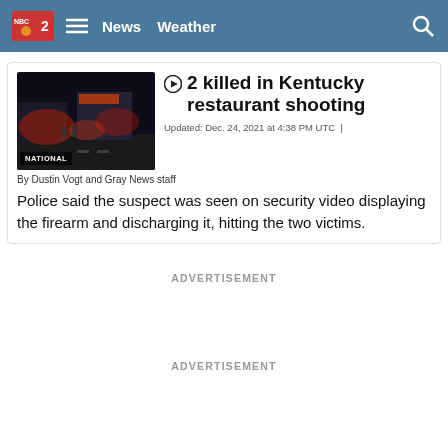News  Weather
[Figure (screenshot): Night scene outside a restaurant with red emergency lights, dark street]
2 killed in Kentucky restaurant shooting
Updated: Dec. 24, 2021 at 4:38 PM UTC
By Dustin Vogt and Gray News staff
Police said the suspect was seen on security video displaying the firearm and discharging it, hitting the two victims.
ADVERTISEMENT
ADVERTISEMENT